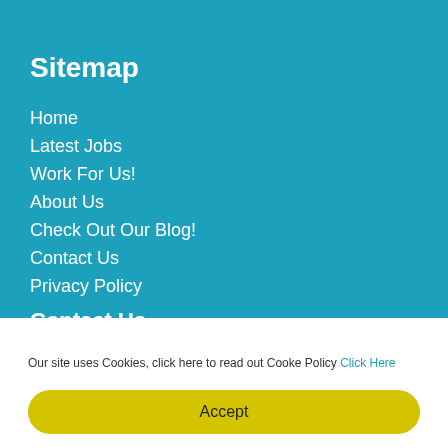Sitemap
Home
Latest Jobs
Work For Us!
About Us
Check Out Our Blog!
Contact Us
Privacy Policy
Contact Us
New Maxdov House
130 Bury New Road
Our site uses Cookies, click here to read out Cooke Policy Click Here
Accept